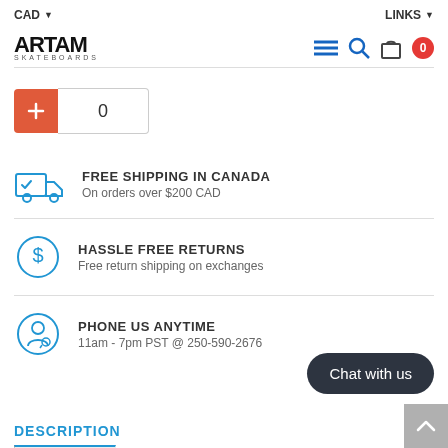CAD ▾    LINKS ▾
[Figure (logo): ARTAM SKATEBOARDS logo]
[Figure (infographic): Navigation icons: hamburger menu, search, shopping bag, cart count 0]
[Figure (infographic): Quantity selector: red plus button and input showing 0]
FREE SHIPPING IN CANADA
On orders over $200 CAD
HASSLE FREE RETURNS
Free return shipping on exchanges
PHONE US ANYTIME
11am - 7pm PST @ 250-590-2676
Chat with us
DESCRIPTION